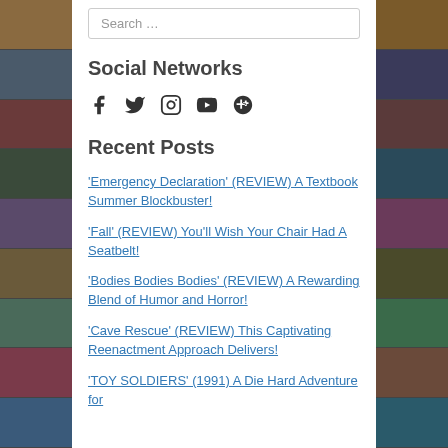[Figure (illustration): Left sidebar collage of movie poster images in vertical strip]
Search ...
Social Networks
[Figure (infographic): Social media icons: Facebook, Twitter, Instagram, YouTube, Google+]
Recent Posts
'Emergency Declaration' (REVIEW) A Textbook Summer Blockbuster!
'Fall' (REVIEW) You'll Wish Your Chair Had A Seatbelt!
'Bodies Bodies Bodies' (REVIEW) A Rewarding Blend of Humor and Horror!
'Cave Rescue' (REVIEW) This Captivating Reenactment Approach Delivers!
'TOY SOLDIERS' (1991) A Die Hard Adventure for
[Figure (illustration): Right sidebar collage of movie poster images in vertical strip]